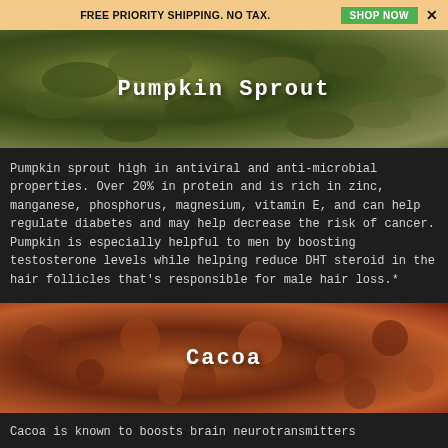FREE PRIORITY SHIPPING. NO TAX.   SHOP NOW   ×
[Figure (photo): Close-up photo of pumpkin seeds with the text 'Pumpkin Sprout' overlaid in white]
Pumpkin sprout high in antiviral and anti-microbial properties. Over 20% in protein and is rich in zinc, manganese, phosphorus, magnesium, vitamin E, and can help regulate diabetes and may help decrease the risk of cancer. Pumpkin is especially helpful to men by boosting testosterone levels while helping reduce DHT steroid in the hair follicles that's responsible for male hair loss.*
[Figure (photo): Close-up photo of cocoa nibs/beans with the text 'Cacoa' overlaid in white]
Cacoa is known to boosts brain neurotransmitters